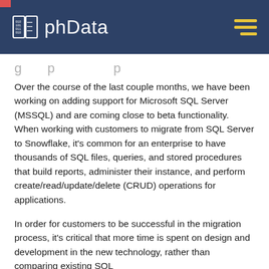phData
…g…p…p…
Over the course of the last couple months, we have been working on adding support for Microsoft SQL Server (MSSQL) and are coming close to beta functionality.  When working with customers to migrate from SQL Server to Snowflake, it's common for an enterprise to have thousands of SQL files, queries, and stored procedures that build reports, administer their instance, and perform create/read/update/delete (CRUD) operations for applications.
In order for customers to be successful in the migration process, it's critical that more time is spent on design and development in the new technology, rather than comparing existing SQL…